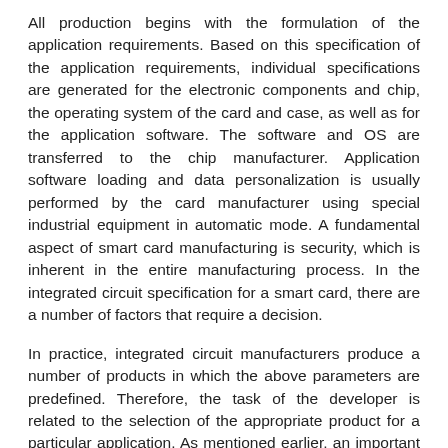All production begins with the formulation of the application requirements. Based on this specification of the application requirements, individual specifications are generated for the electronic components and chip, the operating system of the card and case, as well as for the application software. The software and OS are transferred to the chip manufacturer. Application software loading and data personalization is usually performed by the card manufacturer using special industrial equipment in automatic mode. A fundamental aspect of smart card manufacturing is security, which is inherent in the entire manufacturing process. In the integrated circuit specification for a smart card, there are a number of factors that require a decision.
In practice, integrated circuit manufacturers produce a number of products in which the above parameters are predefined. Therefore, the task of the developer is related to the selection of the appropriate product for a particular application. As mentioned earlier, an important aspect for the application is security, and accordingly, there may be special requirements for the physical and logical security provided by the chip. Naturally, the recommendations of the fundamentally important ISO 7816 standard should be taken into account. Part 3 “Electronic signals and transmission protocols”.
ROM specification. The ROM contains the smart card operating system, with components that affect the card’s final characteristics.